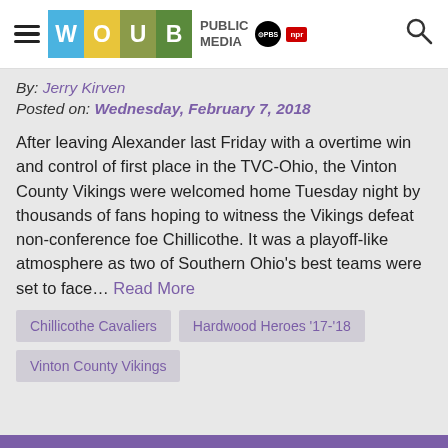WOUB PUBLIC MEDIA PBS NPR
By: Jerry Kirven
Posted on: Wednesday, February 7, 2018
After leaving Alexander last Friday with a overtime win and control of first place in the TVC-Ohio, the Vinton County Vikings were welcomed home Tuesday night by thousands of fans hoping to witness the Vikings defeat non-conference foe Chillicothe. It was a playoff-like atmosphere as two of Southern Ohio's best teams were set to face… Read More
Chillicothe Cavaliers
Hardwood Heroes '17-'18
Vinton County Vikings